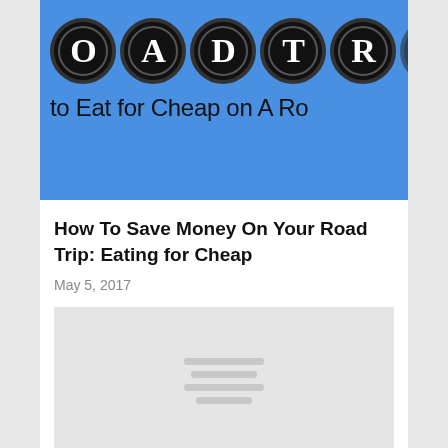[Figure (illustration): Blue background hero image with large black circles containing letters O, A, D, T, R (part of 'ROAD TRIP' logo) and text 'to Eat for Cheap on A Ro...' beneath]
How To Save Money On Your Road Trip: Eating for Cheap
May 5, 2017
[Figure (photo): Light gray placeholder image with horizontal gray lines in the center]